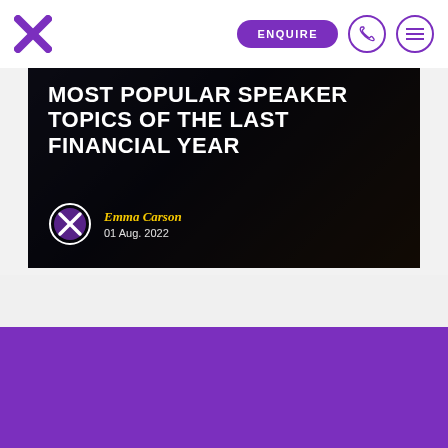ENQUIRE
[Figure (screenshot): Hero image showing 'MOST POPULAR SPEAKER TOPICS OF THE LAST FINANCIAL YEAR' article header with author Emma Carson, date 01 Aug. 2022, dark background with faint hands holding device]
[Figure (illustration): Purple footer section with email icon and partial logo text]